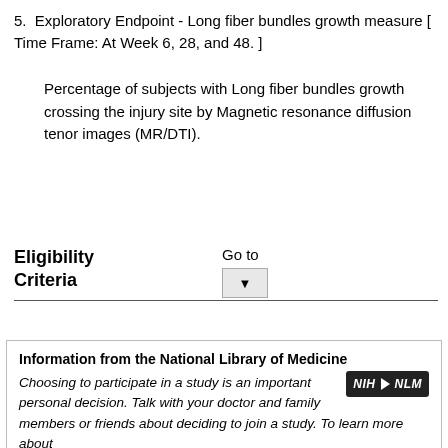5. Exploratory Endpoint - Long fiber bundles growth measure [ Time Frame: At Week 6, 28, and 48. ]
Percentage of subjects with Long fiber bundles growth crossing the injury site by Magnetic resonance diffusion tenor images (MR/DTI).
Eligibility Criteria
Go to
Information from the National Library of Medicine
Choosing to participate in a study is an important personal decision. Talk with your doctor and family members or friends about deciding to join a study. To learn more about